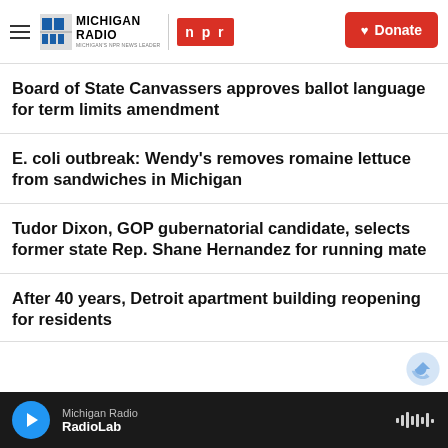Michigan Radio | NPR | Donate
Board of State Canvassers approves ballot language for term limits amendment
E. coli outbreak: Wendy's removes romaine lettuce from sandwiches in Michigan
Tudor Dixon, GOP gubernatorial candidate, selects former state Rep. Shane Hernandez for running mate
After 40 years, Detroit apartment building reopening for residents
Michigan Radio | RadioLab